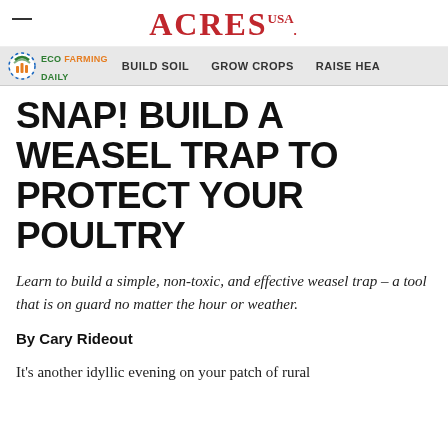ACRES USA
ECO FARMING DAILY   BUILD SOIL   GROW CROPS   RAISE HEA
SNAP! BUILD A WEASEL TRAP TO PROTECT YOUR POULTRY
Learn to build a simple, non-toxic, and effective weasel trap – a tool that is on guard no matter the hour or weather.
By Cary Rideout
It's another idyllic evening on your patch of rural